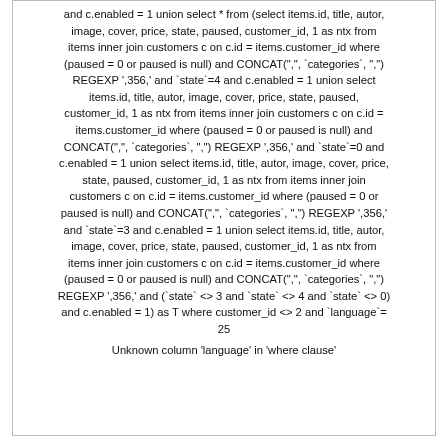and c.enabled = 1 union select * from (select items.id, title, autor, image, cover, price, state, paused, customer_id, 1 as ntx from items inner join customers c on c.id = items.customer_id where (paused = 0 or paused is null) and CONCAT(",", `categories`, ",") REGEXP ',356,' and `state`=4 and c.enabled = 1 union select items.id, title, autor, image, cover, price, state, paused, customer_id, 1 as ntx from items inner join customers c on c.id = items.customer_id where (paused = 0 or paused is null) and CONCAT(",", `categories`, ",") REGEXP ',356,' and `state`=0 and c.enabled = 1 union select items.id, title, autor, image, cover, price, state, paused, customer_id, 1 as ntx from items inner join customers c on c.id = items.customer_id where (paused = 0 or paused is null) and CONCAT(",", `categories`, ",") REGEXP ',356,' and `state`=3 and c.enabled = 1 union select items.id, title, autor, image, cover, price, state, paused, customer_id, 1 as ntx from items inner join customers c on c.id = items.customer_id where (paused = 0 or paused is null) and CONCAT(",", `categories`, ",") REGEXP ',356,' and (`state` <> 3 and `state` <> 4 and `state` <> 0) and c.enabled = 1) as T where customer_id <> 2 and `language`= 25
Unknown column 'language' in 'where clause'